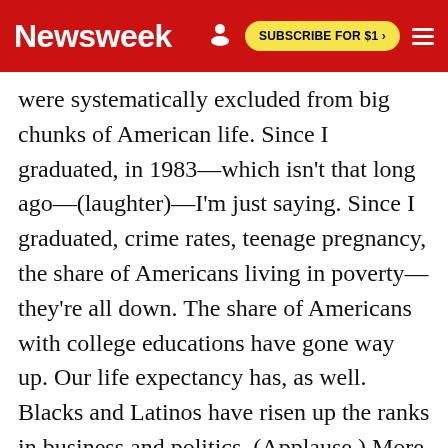Newsweek | SUBSCRIBE FOR $1 >
were systematically excluded from big chunks of American life. Since I graduated, in 1983—which isn't that long ago—(laughter)—I'm just saying. Since I graduated, crime rates, teenage pregnancy, the share of Americans living in poverty—they're all down. The share of Americans with college educations have gone way up. Our life expectancy has, as well. Blacks and Latinos have risen up the ranks in business and politics. (Applause.) More women are in the workforce. (Applause.) They're earning more money—although it's